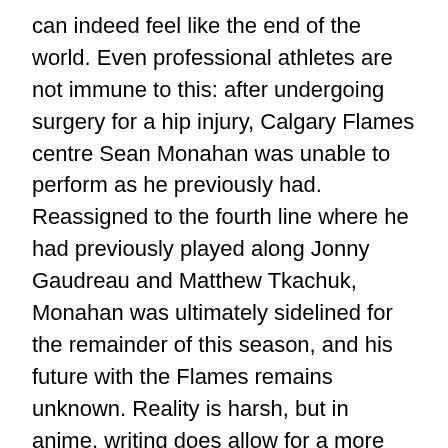can indeed feel like the end of the world. Even professional athletes are not immune to this: after undergoing surgery for a hip injury, Calgary Flames centre Sean Monahan was unable to perform as he previously had. Reassigned to the fourth line where he had previously played along Jonny Gaudreau and Matthew Tkachuk, Monahan was ultimately sidelined for the remainder of this season, and his future with the Flames remains unknown. Reality is harsh, but in anime, writing does allow for a more optimistic (if somewhat implausible) message to be shown: it is ultimately Tokai Teio and Mejiro McQueen opening up to one another and admitting that they'd found inspiration and support in one another, that allow the two to find their footing anew. Thus, after nearly a year of recuperating from her injury, Tokai Teio manages to win the G1 Arima Kinen race for McQueen to show her the extent of her